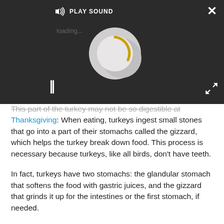[Figure (screenshot): Dark overlay media player panel with 'PLAY SOUND' button, a spinning loading circle (gray with yellow arc), pause button (||), close button (X), and expand icon.]
This part of the turkey may not be so digestible at Thanksgiving: When eating, turkeys ingest small stones that go into a part of their stomachs called the gizzard, which helps the turkey break down food. This process is necessary because turkeys, like all birds, don't have teeth.
In fact, turkeys have two stomachs: the glandular stomach that softens the food with gastric juices, and the gizzard that grinds it up for the intestines or the first stomach, if needed.
S...